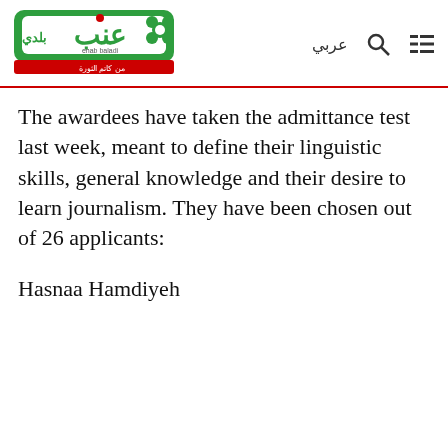[Figure (logo): Enab Baladi news website logo with Arabic text and green/red branding elements]
The awardees have taken the admittance test last week, meant to define their linguistic skills, general knowledge and their desire to learn journalism. They have been chosen out of 26 applicants:
Hasnaa Hamdiyeh